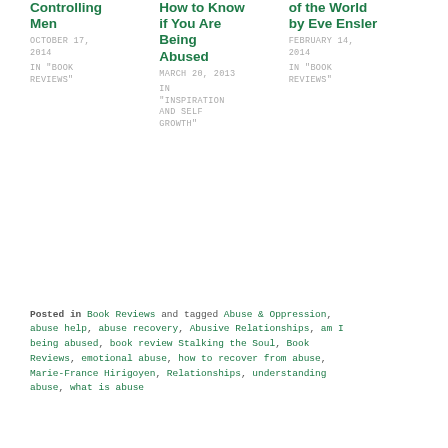Controlling Men
OCTOBER 17, 2014
IN "BOOK REVIEWS"
How to Know if You Are Being Abused
MARCH 20, 2013
IN "INSPIRATION AND SELF GROWTH"
of the World by Eve Ensler
FEBRUARY 14, 2014
IN "BOOK REVIEWS"
Posted in Book Reviews and tagged Abuse & Oppression, abuse help, abuse recovery, Abusive Relationships, am I being abused, book review Stalking the Soul, Book Reviews, emotional abuse, how to recover from abuse, Marie-France Hirigoyen, Relationships, understanding abuse, what is abuse